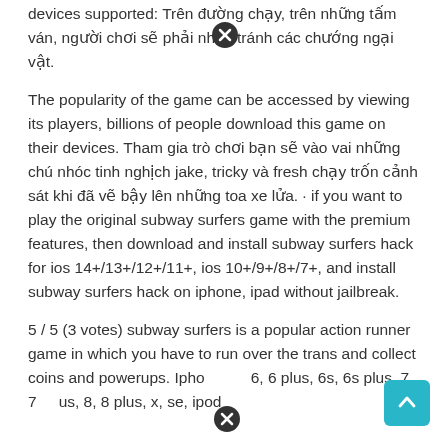devices supported: Trên đường chạy, trên những tấm ván, người chơi sẽ phải nhảy tránh các chướng ngại vật.
The popularity of the game can be accessed by viewing its players, billions of people download this game on their devices. Tham gia trò chơi bạn sẽ vào vai những chú nhóc tinh nghịch jake, tricky và fresh chạy trốn cảnh sát khi đã vẽ bậy lên những toa xe lửa. · if you want to play the original subway surfers game with the premium features, then download and install subway surfers hack for ios 14+/13+/12+/11+, ios 10+/9+/8+/7+, and install subway surfers hack on iphone, ipad without jailbreak.
5 / 5 (3 votes) subway surfers is a popular action runner game in which you have to run over the trans and collect coins and powerups. Iphone 6, 6 plus, 6s, 6s plus, 7, 7 plus, 8, 8 plus, x, se, ipod